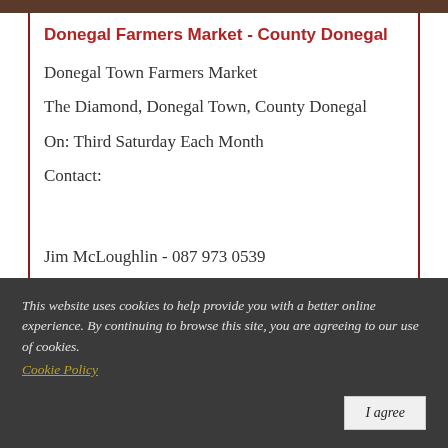[Figure (photo): Cropped image strip at top of page showing partial view of a person or scene]
Donegal Farmers Market - County Donegal
Donegal Town Farmers Market
The Diamond, Donegal Town, County Donegal
On: Third Saturday Each Month
Contact:
Jim McLoughlin - 087 973 0539
This website uses cookies to help provide you with a better online experience. By continuing to browse this site, you are agreeing to our use of cookies.
Cookie Policy
I agree